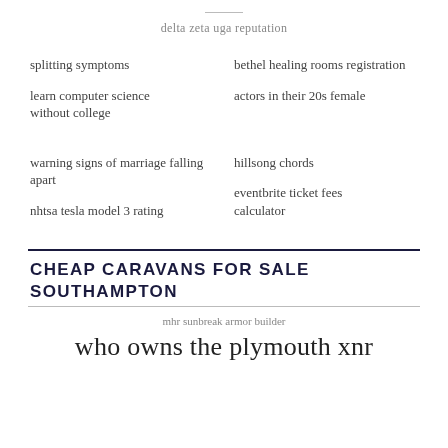delta zeta uga reputation
splitting symptoms
bethel healing rooms registration
learn computer science without college
actors in their 20s female
warning signs of marriage falling apart
hillsong chords
nhtsa tesla model 3 rating
eventbrite ticket fees calculator
CHEAP CARAVANS FOR SALE SOUTHAMPTON
mhr sunbreak armor builder
who owns the plymouth xnr